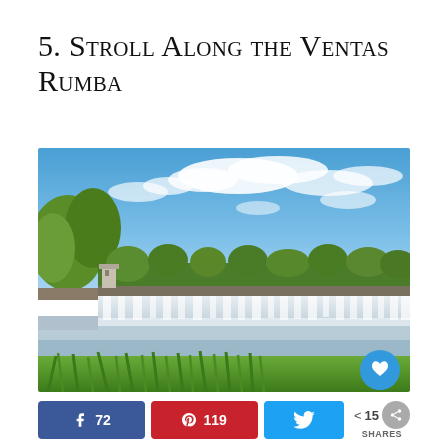5. Stroll Along the Ventas Rumba
[Figure (photo): Wide landscape photo of the Ventas Rumba waterfall in Latvia. A broad, low waterfall spans the full width of the image with white cascading water. Green trees and forest line the far bank. Bright blue sky with white clouds fills the upper portion. Green grass and reeds occupy the foreground. A small building/tower is visible on the left bank. A blue circular heart/like button appears in the lower-right corner of the photo.]
72
119
15 SHARES